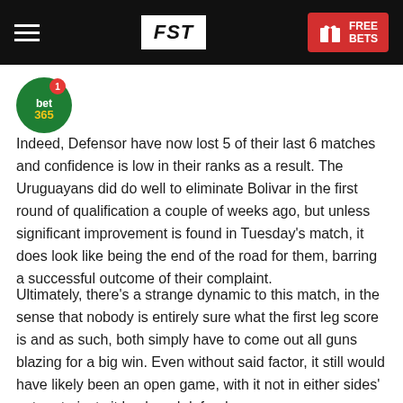FST | FREE BETS
[Figure (logo): bet365 circular green logo with red notification badge showing number 1]
Indeed, Defensor have now lost 5 of their last 6 matches and confidence is low in their ranks as a result. The Uruguayans did do well to eliminate Bolivar in the first round of qualification a couple of weeks ago, but unless significant improvement is found in Tuesday's match, it does look like being the end of the road for them, barring a successful outcome of their complaint.
Ultimately, there's a strange dynamic to this match, in the sense that nobody is entirely sure what the first leg score is and as such, both simply have to come out all guns blazing for a big win. Even without said factor, it still would have likely been an open game, with it not in either sides' nature to just sit back and defend.